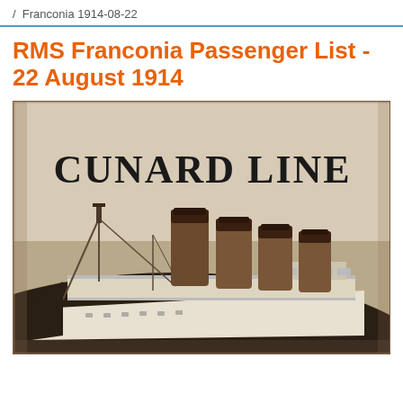/ Franconia 1914-08-22
RMS Franconia Passenger List - 22 August 1914
[Figure (photo): Historical black and white photograph of an ocean liner with four large smokestacks, showing the bow and upper decks of the ship. The text 'CUNARD LINE' is displayed in large letters above the ship image on the cover of a passenger list booklet.]